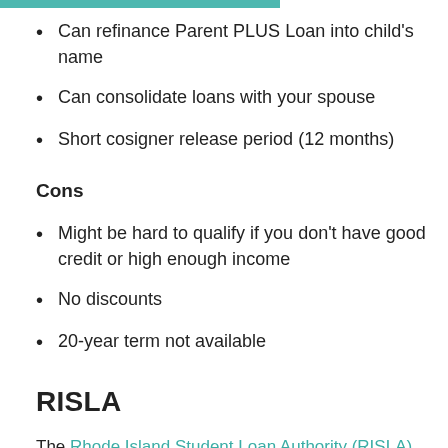Can refinance Parent PLUS Loan into child's name
Can consolidate loans with your spouse
Short cosigner release period (12 months)
Cons
Might be hard to qualify if you don't have good credit or high enough income
No discounts
20-year term not available
RISLA
The Rhode Island Student Loan Authority (RISLA)